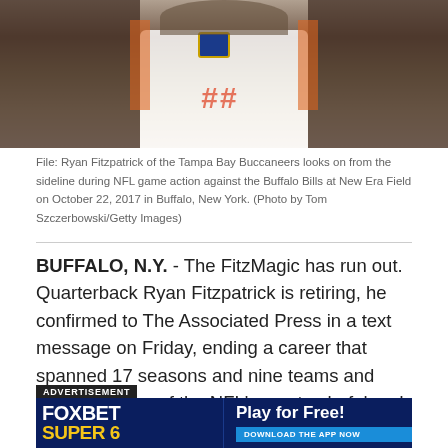[Figure (photo): Ryan Fitzpatrick of the Tampa Bay Buccaneers in white NFL jersey, viewed from chest up, looking on from the sideline]
File: Ryan Fitzpatrick of the Tampa Bay Buccaneers looks on from the sideline during NFL game action against the Buffalo Bills at New Era Field on October 22, 2017 in Buffalo, New York. (Photo by Tom Szczerbowski/Getty Images)
BUFFALO, N.Y. - The FitzMagic has run out. Quarterback Ryan Fitzpatrick is retiring, he confirmed to The Associated Press in a text message on Friday, ending a career that spanned 17 seasons and nine teams and made him one of the NFL's most colorful and beloved journeymen.
[Figure (other): FOX BET SUPER 6 advertisement banner — Play for Free! Download the App Now]